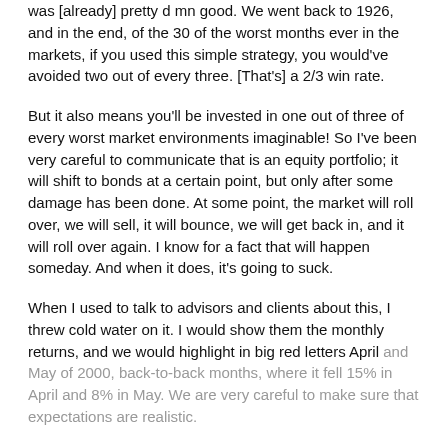was [already] pretty d mn good. We went back to 1926, and in the end, of the 30 of the worst months ever in the markets, if you used this simple strategy, you would've avoided two out of every three. [That's] a 2/3 win rate.
But it also means you'll be invested in one out of three of every worst market environments imaginable! So I've been very careful to communicate that is an equity portfolio; it will shift to bonds at a certain point, but only after some damage has been done. At some point, the market will roll over, we will sell, it will bounce, we will get back in, and it will roll over again. I know for a fact that will happen someday. And when it does, it's going to suck.
When I used to talk to advisors and clients about this, I threw cold water on it. I would show them the monthly returns, and we would highlight in big red letters April and May of 2000, back-to-back months, where it fell 15% in April and 8% in May. We are very careful to make sure that expectations are realistic.